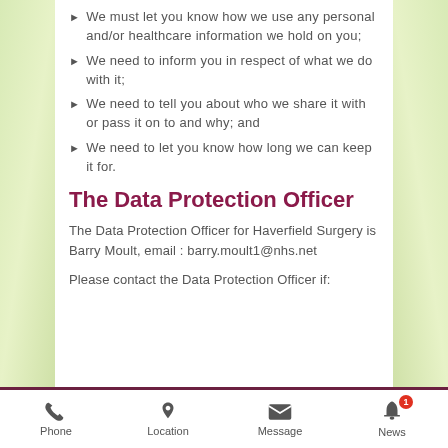We must let you know how we use any personal and/or healthcare information we hold on you;
We need to inform you in respect of what we do with it;
We need to tell you about who we share it with or pass it on to and why; and
We need to let you know how long we can keep it for.
The Data Protection Officer
The Data Protection Officer for Haverfield Surgery is Barry Moult, email : barry.moult1@nhs.net
Please contact the Data Protection Officer if:
Phone  Location  Message  News